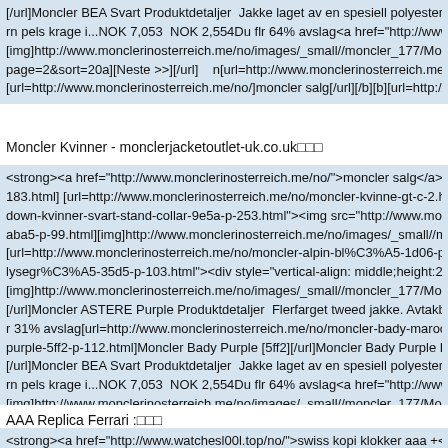[/url]Moncler BEA Svart Produktdetaljer  Jakke laget av en spesiell polyesterfiber gir en...NO rn pels krage i...NOK 7,053  NOK 2,554Du flr 64% avslag<a href="http://www.monclerinos [img]http://www.monclerinosterreich.me/no/images/_small//moncler_177/Moncler-Women-p page=2&sort=20a][Neste >>][/url]    n[url=http://www.monclerinosterreich.me/no/index.php [url=http://www.monclerinosterreich.me/no/]moncler salg[/url][/b][b][url=http://www.moncle
Moncler Kvinner - monclerjacketoutlet-uk.co.uk□□□
<strong><a href="http://www.monclerinosterreich.me/no/">moncler salg</a></strong><br> 183.html] [url=http://www.monclerinosterreich.me/no/moncler-kvinne-gt-c-2.html][img]http down-kvinner-svart-stand-collar-9e5a-p-253.html"><img src="http://www.monclerinosterrei aba5-p-99.html][img]http://www.monclerinosterreich.me/no/images/_small//moncler_177/M [url=http://www.monclerinosterreich.me/no/moncler-alpin-bl%C3%A5-1d06-p-101.html]Mo lysegr%C3%A5-35d5-p-103.html"><div style="vertical-align: middle;height:250px"><img s [img]http://www.monclerinosterreich.me/no/images/_small//moncler_177/Moncler-Women-p [/url]Moncler ASTERE Purple Produktdetaljer  Flerfarget tweed jakke. Avtakbar hette i...NO r 31% avslag[url=http://www.monclerinosterreich.me/no/moncler-bady-maroon-7a2a-p-110.h purple-5ff2-p-112.html]Moncler Bady Purple [5ff2][/url]Moncler Bady Purple Produktdetalje [/url]Moncler BEA Svart Produktdetaljer  Jakke laget av en spesiell polyesterfiber gir en...NO rn pels krage i...NOK 7,053  NOK 2,554Du flr 64% avslag<a href="http://www.monclerinos [img]http://www.monclerinosterreich.me/no/images/_small//moncler_177/Moncler-Women-p page=2&sort=20a][Neste >>][/url]    n[url=http://www.monclerinosterreich.me/no/index.php [url=http://www.monclerinosterreich.me/no/]moncler salg[/url][/b][b][url=http://www.moncle
AAA Replica Ferrari :□□□
<strong><a href="http://www.watchesl00l.top/no/">swiss kopi klokker aaa +</a></strong>